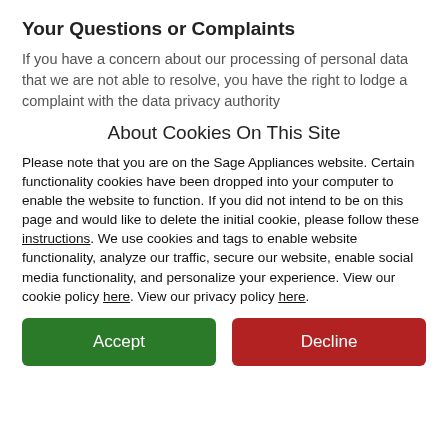Your Questions or Complaints
If you have a concern about our processing of personal data that we are not able to resolve, you have the right to lodge a complaint with the data privacy authority
About Cookies On This Site
Please note that you are on the Sage Appliances website. Certain functionality cookies have been dropped into your computer to enable the website to function. If you did not intend to be on this page and would like to delete the initial cookie, please follow these instructions. We use cookies and tags to enable website functionality, analyze our traffic, secure our website, enable social media functionality, and personalize your experience. View our cookie policy here. View our privacy policy here.
Accept
Decline